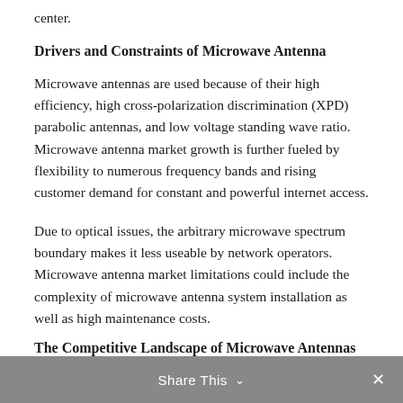center.
Drivers and Constraints of Microwave Antenna
Microwave antennas are used because of their high efficiency, high cross-polarization discrimination (XPD) parabolic antennas, and low voltage standing wave ratio. Microwave antenna market growth is further fueled by flexibility to numerous frequency bands and rising customer demand for constant and powerful internet access.
Due to optical issues, the arbitrary microwave spectrum boundary makes it less useable by network operators. Microwave antenna market limitations could include the complexity of microwave antenna system installation as well as high maintenance costs.
The Competitive Landscape of Microwave Antennas
Share This ∨  ×